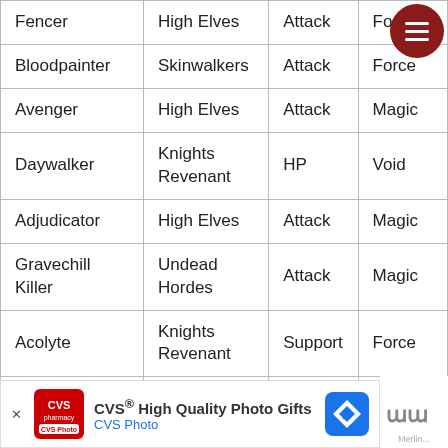| Fencer | High Elves | Attack | Force |
| Bloodpainter | Skinwalkers | Attack | Force |
| Avenger | High Elves | Attack | Magic |
| Daywalker | Knights Revenant | HP | Void |
| Adjudicator | High Elves | Attack | Magic |
| Gravechill Killer | Undead Hordes | Attack | Magic |
| Acolyte | Knights Revenant | Support | Force |